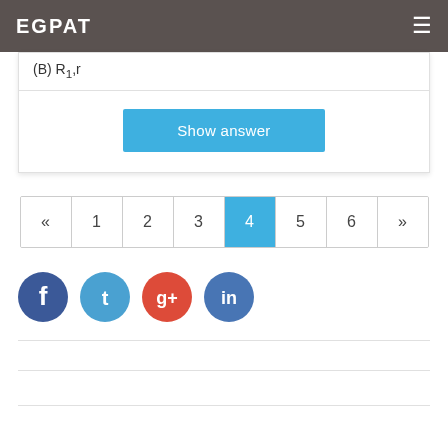EGPAT
(B) R1,r
Show answer
« 1 2 3 4 5 6 »
[Figure (other): Social media share icons: Facebook, Twitter, Google+, LinkedIn]